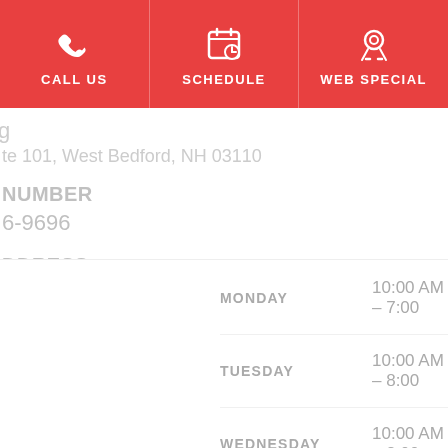CALL US | SCHEDULE | WEB SPECIAL
g
te 101, West Bedford, NH 03110
NUMBER
6-9696
DDRESS
edfordmartialartsacademy.com
| Day | Hours |
| --- | --- |
| MONDAY | 10:00 AM – 7:00 |
| TUESDAY | 10:00 AM – 8:00 |
| WEDNESDAY | 10:00 AM – 8:00 |